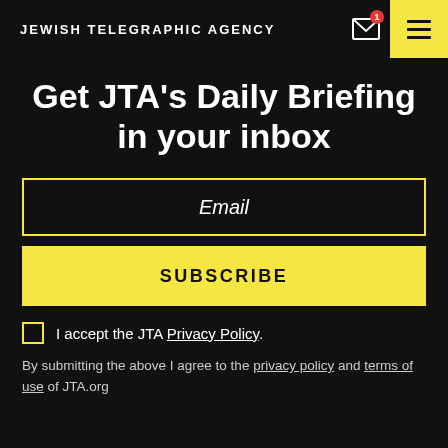JEWISH TELEGRAPHIC AGENCY
Get JTA's Daily Briefing in your inbox
Email
SUBSCRIBE
I accept the JTA Privacy Policy.
By submitting the above I agree to the privacy policy and terms of use of JTA.org